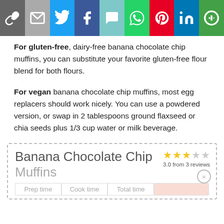[Figure (other): Social media share bar with icons: link, email, Twitter, Facebook, SMS, WhatsApp, Pinterest, LinkedIn, More]
For gluten-free, dairy-free banana chocolate chip muffins, you can substitute your favorite gluten-free flour blend for both flours.
For vegan banana chocolate chip muffins, most egg replacers should work nicely. You can use a powdered version, or swap in 2 tablespoons ground flaxseed or chia seeds plus 1/3 cup water or milk beverage.
Banana Chocolate Chip Muffins
3.0 from 3 reviews
Prep time   Cook time   Total time